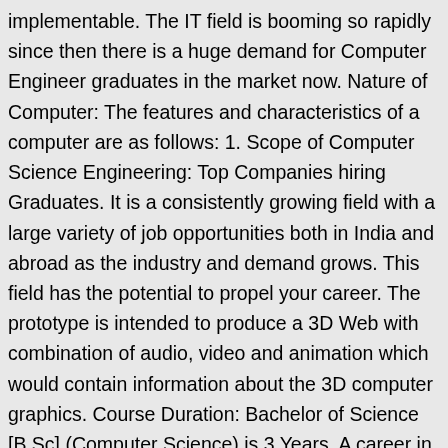implementable. The IT field is booming so rapidly since then there is a huge demand for Computer Engineer graduates in the market now. Nature of Computer: The features and characteristics of a computer are as follows: 1. Scope of Computer Science Engineering: Top Companies hiring Graduates. It is a consistently growing field with a large variety of job opportunities both in India and abroad as the industry and demand grows. This field has the potential to propel your career. The prototype is intended to produce a 3D Web with combination of audio, video and animation which would contain information about the 3D computer graphics. Course Duration: Bachelor of Science [B.Sc] (Computer Science) is 3 Years. A career in Computer Science has been proved rewarding since last decade.This field has the potential to boost your career . The increasing scope of computer science means you have plenty of choice in a wide variety of highly specialized areas. Specifically, the situations and conditions pertaining across the country in 2020 gave scope for emerging technologies in the field of